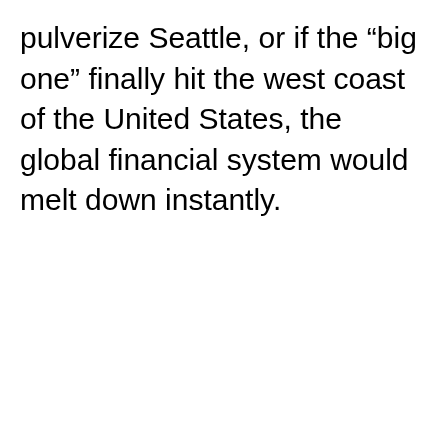pulverize Seattle, or if the “big one” finally hit the west coast of the United States, the global financial system would melt down instantly.